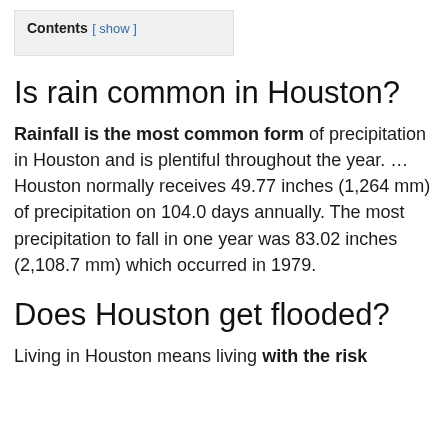Contents [ show ]
Is rain common in Houston?
Rainfall is the most common form of precipitation in Houston and is plentiful throughout the year. … Houston normally receives 49.77 inches (1,264 mm) of precipitation on 104.0 days annually. The most precipitation to fall in one year was 83.02 inches (2,108.7 mm) which occurred in 1979.
Does Houston get flooded?
Living in Houston means living with the risk of...